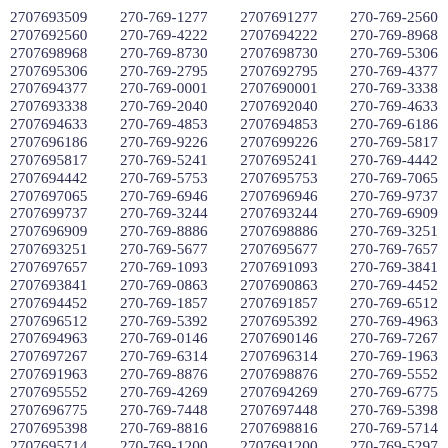2707693509 270-769-1277 2707691277 270-769-2560 2707692560 270-769-4222 2707694222 270-769-8968 2707698968 270-769-8730 2707698730 270-769-5306 2707695306 270-769-2795 2707692795 270-769-4377 2707694377 270-769-0001 2707690001 270-769-3338 2707693338 270-769-2040 2707692040 270-769-4633 2707694633 270-769-4853 2707694853 270-769-6186 2707696186 270-769-9226 2707699226 270-769-5817 2707695817 270-769-5241 2707695241 270-769-4442 2707694442 270-769-5753 2707695753 270-769-7065 2707697065 270-769-6946 2707696946 270-769-9737 2707699737 270-769-3244 2707693244 270-769-6909 2707696909 270-769-8886 2707698886 270-769-3251 2707693251 270-769-5677 2707695677 270-769-7657 2707697657 270-769-1093 2707691093 270-769-3841 2707693841 270-769-0863 2707690863 270-769-4452 2707694452 270-769-1857 2707691857 270-769-6512 2707696512 270-769-5392 2707695392 270-769-4963 2707694963 270-769-0146 2707690146 270-769-7267 2707697267 270-769-6314 2707696314 270-769-1963 2707691963 270-769-8876 2707698876 270-769-5552 2707695552 270-769-4269 2707694269 270-769-6775 2707696775 270-769-7448 2707697448 270-769-5398 2707695398 270-769-8816 2707698816 270-769-5714 2707695714 270-769-1200 2707691200 270-769-5297